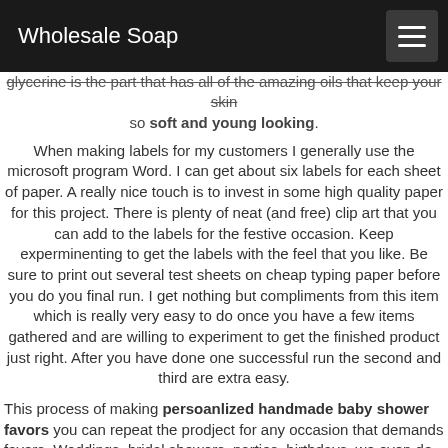Wholesale Soap
glycerine is the part that has all of the amazing oils that keep your skin so soft and young looking.
When making labels for my customers I generally use the microsoft program Word. I can get about six labels for each sheet of paper. A really nice touch is to invest in some high quality paper for this project. There is plenty of neat (and free) clip art that you can add to the labels for the festive occasion. Keep experminenting to get the labels with the feel that you like. Be sure to print out several test sheets on cheap typing paper before you do you final run. I get nothing but compliments from this item which is really very easy to do once you have a few items gathered and are willing to experiment to get the finished product just right. After you have done one successful run the second and third are extra easy.
This process of making persoanlized handmade baby shower favors you can repeat the prodject for any occasion that demands favors. Weddings, bridal showers, parties, birthdays, we even do them for anniveraries. The personalized aspect is always a great touch and deeply appreciated. The last and most important part is to choose a handmade soapmaker who offers wholesale soap to individuals at reasonable prices. That is where the soap guy comes in. We are now u